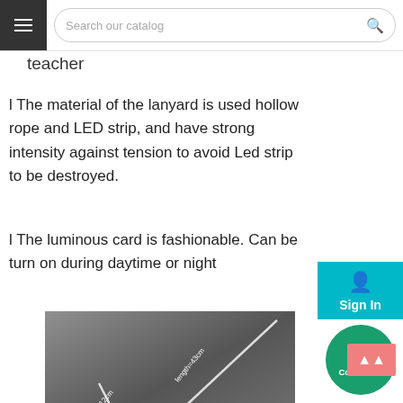Search our catalog
teacher
l The material of the lanyard is used hollow rope and LED strip, and have strong intensity against tension to avoid Led strip to be destroyed.
l The luminous card is fashionable. Can be turn on during daytime or night
[Figure (photo): Product photo showing LED lanyard strip with dimensions: length=12cm and length=43cm labeled with white lines on dark background, with a luminous card with LOGO at the bottom.]